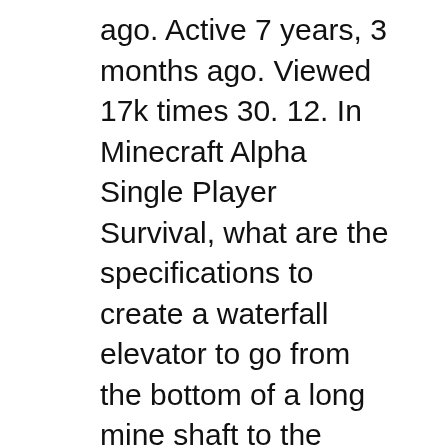ago. Active 7 years, 3 months ago. Viewed 17k times 30. 12. In Minecraft Alpha Single Player Survival, what are the specifications to create a waterfall elevator to go from the bottom of a long mine shaft to the surface? minecraft. share improve How to Set Weather to Clear in Minecraft. This Minecraft tutorial explains how to set the weather to clear with screenshots and step-by-step instructions. When it starts to rain or thunder in your Minecraft world, you can change the weather back to clear with a cheat (game command). Let's explore how to вЂ¦
Browse and download Minecraft Waterfall Maps by the Planet Minecraft